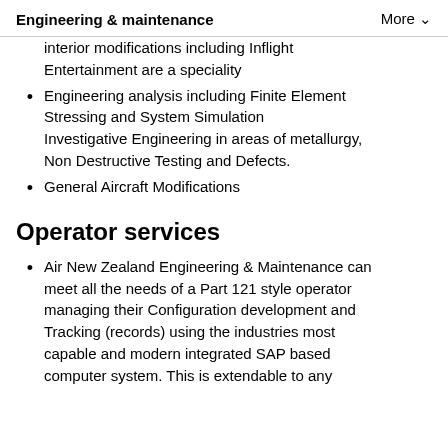Engineering & maintenance   More
interior modifications including Inflight Entertainment are a speciality
Engineering analysis including Finite Element Stressing and System Simulation Investigative Engineering in areas of metallurgy, Non Destructive Testing and Defects.
General Aircraft Modifications
Operator services
Air New Zealand Engineering & Maintenance can meet all the needs of a Part 121 style operator managing their Configuration development and Tracking (records) using the industries most capable and modern integrated SAP based computer system. This is extendable to any